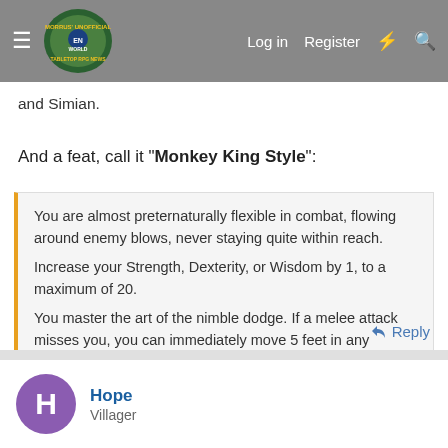Morrus' Unofficial Tabletop RPG News — Log in | Register
and Simian.
And a feat, call it "Monkey King Style":
You are almost preternaturally flexible in combat, flowing around enemy blows, never staying quite within reach.
Increase your Strength, Dexterity, or Wisdom by 1, to a maximum of 20.
You master the art of the nimble dodge. If a melee attack misses you, you can immediately move 5 feet in any direction that isn't blocked as a reaction. This movement does not provoke opportunity attacks.
Click to expand...
Reply
Hope
Villager